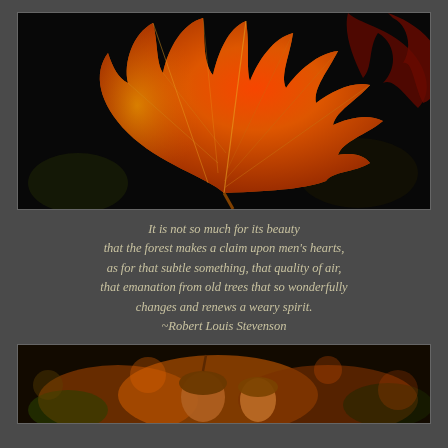[Figure (photo): Close-up photo of a vibrant orange-red autumn maple leaf against a dark black background, with deep red leaves visible in the upper right corner]
It is not so much for its beauty
that the forest makes a claim upon men's hearts,
as for that subtle something, that quality of air,
that emanation from old trees that so wonderfully
changes and renews a weary spirit.
~Robert Louis Stevenson
[Figure (photo): Close-up blurred macro photo of autumn-colored acorns and foliage in warm orange and brown tones]